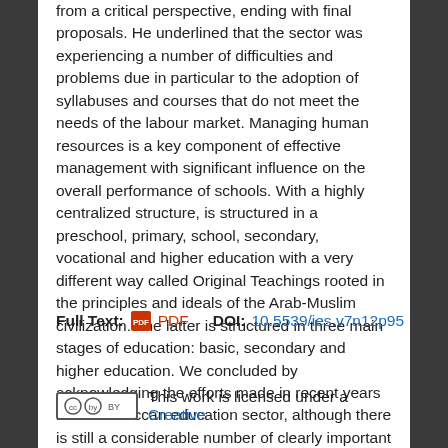from a critical perspective, ending with final proposals. He underlined that the sector was experiencing a number of difficulties and problems due in particular to the adoption of syllabuses and courses that do not meet the needs of the labour market. Managing human resources is a key component of effective management with significant influence on the overall performance of schools. With a highly centralized structure, is structured in a preschool, primary, school, secondary, vocational and higher education with a very different way called Original Teachings rooted in the principles and ideals of the Arab-Muslim civilization. The latter is structured in three main stages of education: basic, secondary and higher education. We concluded by acknowledging the efforts made in recent years in the Moroccan education sector, although there is still a considerable number of clearly important aspects of improvement.
Full Text: PDF   DOI:10.5539/ies.v7n12p95
This work is licensed under a Creative